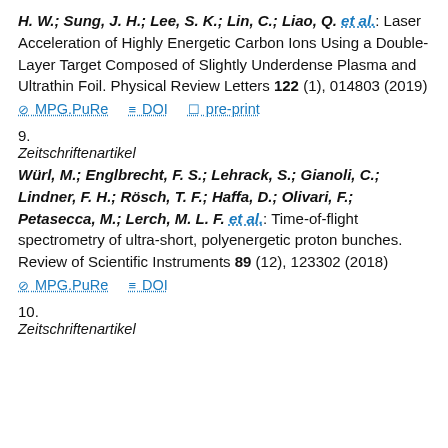H. W.; Sung, J. H.; Lee, S. K.; Lin, C.; Liao, Q. et al.: Laser Acceleration of Highly Energetic Carbon Ions Using a Double-Layer Target Composed of Slightly Underdense Plasma and Ultrathin Foil. Physical Review Letters 122 (1), 014803 (2019)
MPG.PuRe | DOI | pre-print
9.
Zeitschriftenartikel
Würl, M.; Englbrecht, F. S.; Lehrack, S.; Gianoli, C.; Lindner, F. H.; Rösch, T. F.; Haffa, D.; Olivari, F.; Petasecca, M.; Lerch, M. L. F. et al.: Time-of-flight spectrometry of ultra-short, polyenergetic proton bunches. Review of Scientific Instruments 89 (12), 123302 (2018)
MPG.PuRe | DOI
10.
Zeitschriftenartikel